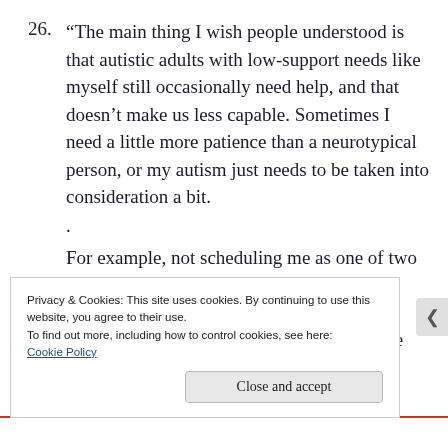26. “The main thing I wish people understood is that autistic adults with low-support needs like myself still occasionally need help, and that doesn’t make us less capable. Sometimes I need a little more patience than a neurotypical person, or my autism just needs to be taken into consideration a bit.
.
For example, not scheduling me as one of two servers on a holiday weekend with no other support staff. A neurotypical can compartmentalize that stress. I had a terrible
Privacy & Cookies: This site uses cookies. By continuing to use this website, you agree to their use.
To find out more, including how to control cookies, see here:
Cookie Policy
Close and accept